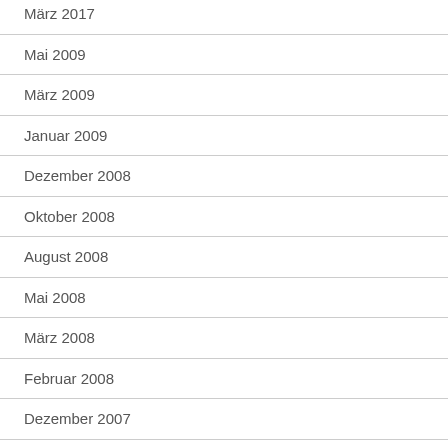März 2017
Mai 2009
März 2009
Januar 2009
Dezember 2008
Oktober 2008
August 2008
Mai 2008
März 2008
Februar 2008
Dezember 2007
Oktober 2007